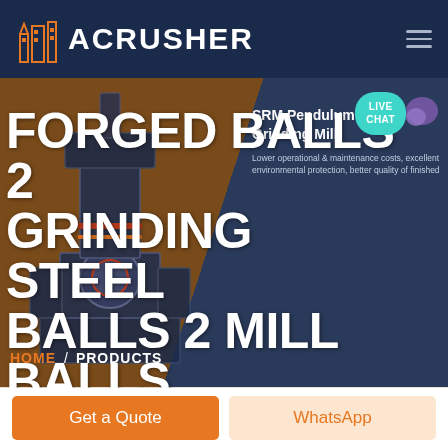ACRUSHER
[Figure (screenshot): ACrusher website screenshot showing a hero banner with industrial machine (forged balls grinding steel balls mill), navigation header with logo and hamburger menu, live chat bubble, product card overlay, main heading, breadcrumbs, and call-to-action buttons.]
FORGED BALLS 2 GRINDING STEEL BALLS 2 MILL BALLS
SRM Pendulum Roller Grinding Mill
Lower operational & maintenance costs, excellent environmental protection, better quality of finished
HOME / PRODUCTS
Get a Quote
WhatsApp